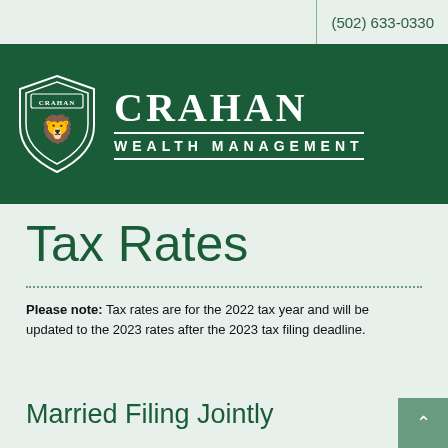(502) 633-0330
[Figure (logo): Crahan Wealth Management logo with shield emblem and company name on dark green banner background]
Tax Rates
Please note: Tax rates are for the 2022 tax year and will be updated to the 2023 rates after the 2023 tax filing deadline.
Married Filing Jointly